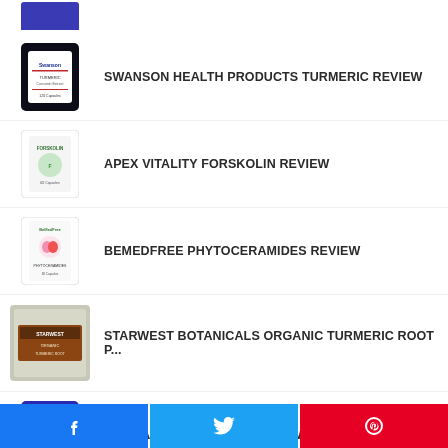[Figure (photo): Partial view of a supplement bottle (cropped at top)]
SWANSON HEALTH PRODUCTS TURMERIC REVIEW
APEX VITALITY FORSKOLIN REVIEW
BEMEDFREE PHYTOCERAMIDES REVIEW
STARWEST BOTANICALS ORGANIC TURMERIC ROOT P...
PURITAN'S PRIDE 5-HTP REVIEW
Facebook share | Twitter share | Pinterest share